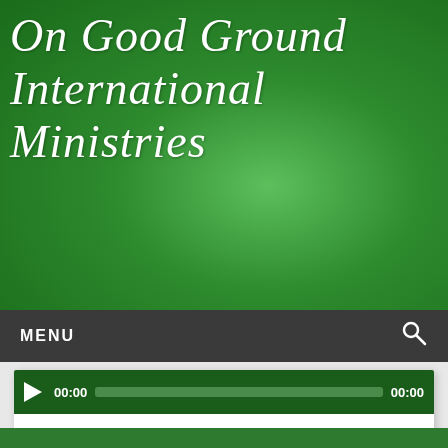On Good Ground International Ministries
MENU
[Figure (screenshot): Audio player bar with play button, time 00:00, progress bar, and duration 00:00 on dark green background]
A Study of Mark (Chapter 16:1-20)
Pastor Jeff concludes the book of Mark.